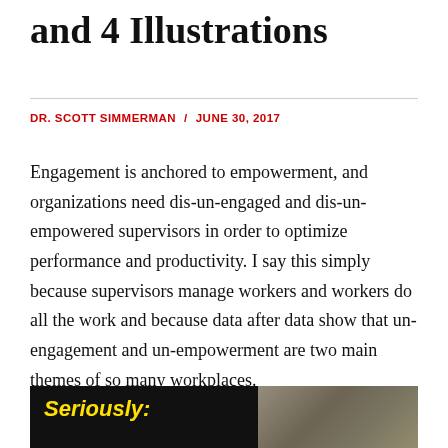and 4 Illustrations
DR. SCOTT SIMMERMAN / JUNE 30, 2017
Engagement is anchored to empowerment, and organizations need dis-un-engaged and dis-un-empowered supervisors in order to optimize performance and productivity. I say this simply because supervisors manage workers and workers do all the work and because data after data show that un-engagement and un-empowerment are two main themes of so many workplaces.
[Figure (photo): Black background image with yellow bold italic text 'Seriously:' on the left side and a grayscale photo on the right side]